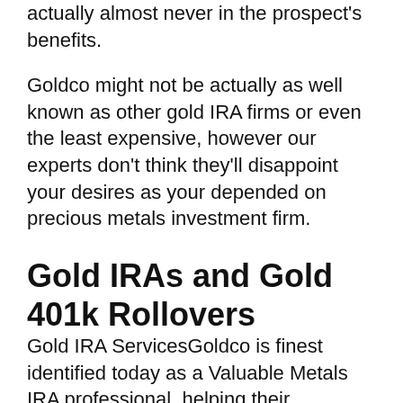actually almost never in the prospect's benefits.
Goldco might not be actually as well known as other gold IRA firms or even the least expensive, however our experts don't think they'll disappoint your desires as your depended on precious metals investment firm.
Gold IRAs and Gold 401k Rollovers
Gold IRA ServicesGoldco is finest identified today as a Valuable Metals IRA professional, helping their consumers begin, roll-over or transfer their certified retirement plan right into a Self-reliant IRA consisting of a sensible